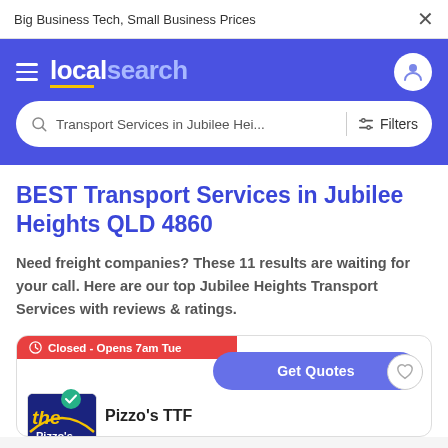Big Business Tech, Small Business Prices
[Figure (screenshot): Localsearch website header with hamburger menu, localsearch logo with yellow underline, and user profile icon on blue background]
Transport Services in Jubilee Hei... Filters
BEST Transport Services in Jubilee Heights QLD 4860
Need freight companies? These 11 results are waiting for your call. Here are our top Jubilee Heights Transport Services with reviews & ratings.
Closed - Opens 7am Tue
Get Quotes
Pizzo's TTF